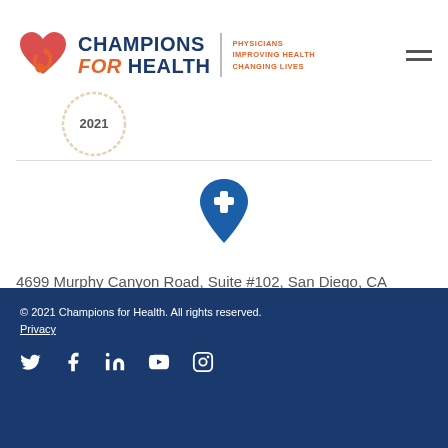[Figure (logo): Champions for Health logo with red heart/stethoscope icon, navy blue text 'CHAMPIONS for HEALTH', orange tagline 'PHYSICIANS IMPROVING HEALTH CHANGING LIVES', and hamburger menu icon]
[Figure (other): Circular badge showing '2021' with gold/tan border]
[Figure (other): Blue map pin icon with white medical cross]
4699 Murphy Canyon Road, Suite #102, San Diego, CA 92123 • Phone: 858-300-2777 • Fax: 858-560-0179
© 2021 Champions for Health. All rights reserved.
Privacy
[Twitter] [Facebook] [LinkedIn] [YouTube] [Instagram]